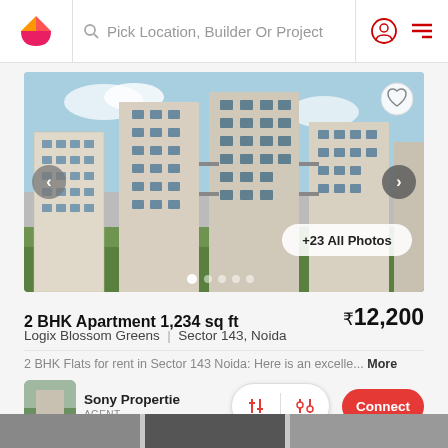Pick Location, Builder Or Project
[Figure (photo): Apartment building exterior photo showing multi-story residential towers (Logix Blossom Greens) in Sector 143, Noida with a '+23 All Photos' button overlay]
2 BHK Apartment 1,234 sq ft
₹12,200
Logix Blossom Greens | Sector 143, Noida
2 BHK Flats for rent in Sector 143 Noida: Here is an excelle... More
Sony Properties
AGENT
Connect